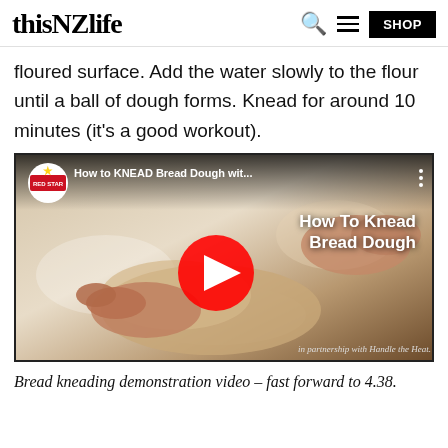thisNZlife
floured surface. Add the water slowly to the flour until a ball of dough forms. Knead for around 10 minutes (it's a good workout).
[Figure (screenshot): YouTube video thumbnail showing hands kneading bread dough on a floured surface. Video title: 'How to KNEAD Bread Dough wit...' by Red Star. Overlay text reads 'How To Knead Bread Dough'. Partnership note: 'in partnership with Handle the Heat.']
Bread kneading demonstration video – fast forward to 4.38.